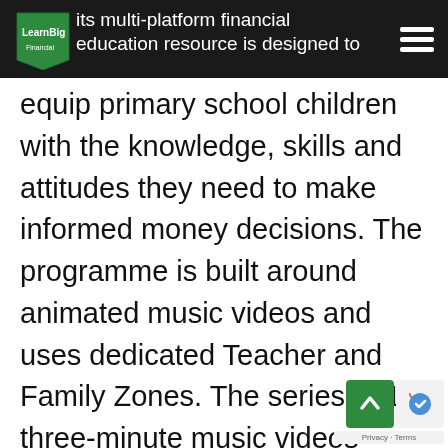its multi-platform financial education resource is designed to
equip primary school children with the knowledge, skills and attitudes they need to make informed money decisions. The programme is built around animated music videos and uses dedicated Teacher and Family Zones. The series of 16, three-minute music videos feature six lively characters, Pepper, Zul, Charity, Justin, Prudence and Bobby who make up the band, Cha-Ching. Originally friends from school, the characters through their roles in the band and everyday